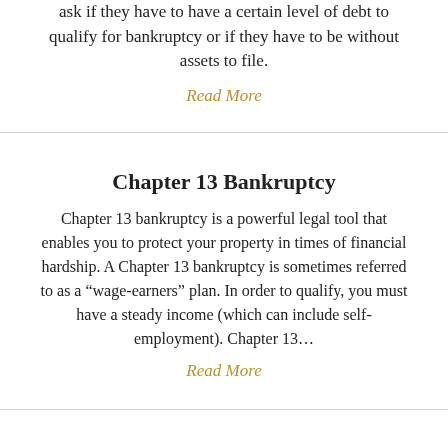ask if they have to have a certain level of debt to qualify for bankruptcy or if they have to be without assets to file.
Read More
Chapter 13 Bankruptcy
Chapter 13 bankruptcy is a powerful legal tool that enables you to protect your property in times of financial hardship. A Chapter 13 bankruptcy is sometimes referred to as a “wage-earners” plan. In order to qualify, you must have a steady income (which can include self-employment). Chapter 13…
Read More
Chapter 11 Bankruptcy
A Chapter 11 bankruptcy is sometimes referred to as